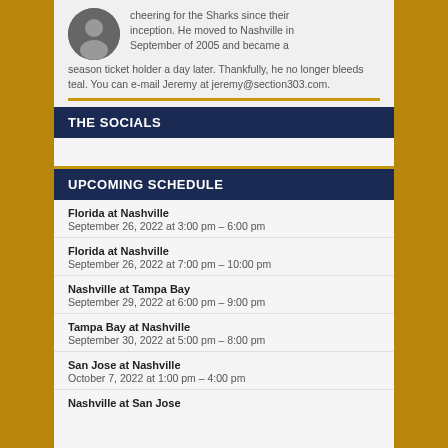cheering for the Sharks since their inception. He moved to Nashville in September of 2005 and became a season ticket holder a day later. Thankfully, he no longer bleeds teal. You can e-mail Jeremy at jeremy@section303.com.
THE SOCIALS
UPCOMING SCHEDULE
Florida at Nashville
September 26, 2022 at 3:00 pm – 6:00 pm
Florida at Nashville
September 26, 2022 at 7:00 pm – 10:00 pm
Nashville at Tampa Bay
September 29, 2022 at 6:00 pm – 9:00 pm
Tampa Bay at Nashville
September 30, 2022 at 5:00 pm – 8:00 pm
San Jose at Nashville
October 7, 2022 at 1:00 pm – 4:00 pm
Nashville at San Jose